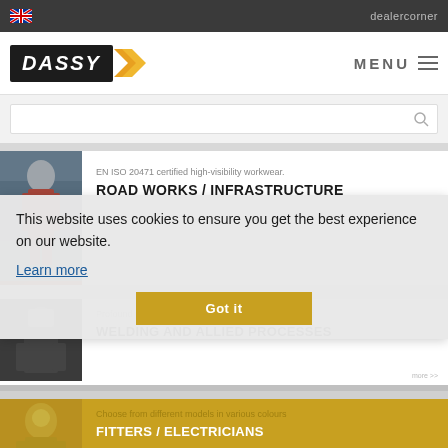dealercorner
[Figure (logo): DASSY brand logo with chevron arrows on dark background]
MENU
[Figure (screenshot): Search bar with magnifying glass icon]
[Figure (photo): Worker in red high-visibility suit walking on road infrastructure]
EN ISO 20471 certified high-visibility workwear.
ROAD WORKS / INFRASTRUCTURE
[Figure (photo): Worker in welding gear]
Profound protection suitable for many different types of
WELDING AND ALLIED PROCESSES
[Figure (photo): Fitter/electrician worker]
Choose from different models in various colours
FITTERS / ELECTRICIANS
This website uses cookies to ensure you get the best experience on our website.
Learn more
Got it